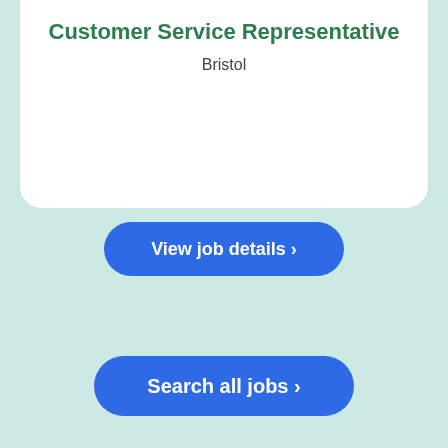Customer Service Representative
Bristol
View job details ›
Search all jobs ›